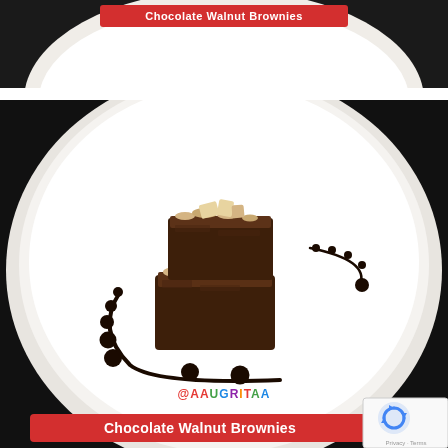[Figure (photo): Partial top view of a white plate with chocolate walnut brownies on a dark background, with a red banner partially visible at the top reading 'Chocolate Walnut Brownies']
[Figure (photo): Main photo: two stacked chocolate walnut brownie pieces plated on a large white round plate with decorative chocolate sauce swirls and dots. The plate sits on a dark/black background. A watermark '@AAUGRITAA' and red banner 'Chocolate Walnut Brownies' appear at the bottom. A reCAPTCHA widget overlays the bottom-right corner.]
@AAUGRITAA
Chocolate Walnut Brownies